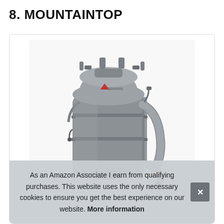8. MOUNTAINTOP
[Figure (photo): A gray Mountaintop hiking backpack with frame, compression straps, hip belt, and shoulder straps shown from a slightly angled front view against a white background.]
As an Amazon Associate I earn from qualifying purchases. This website uses the only necessary cookies to ensure you get the best experience on our website. More information